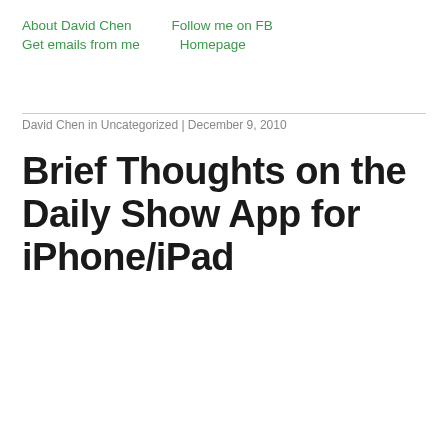About David Chen   Follow me on FB
Get emails from me   Homepage
David Chen in Uncategorized | December 9, 2010
Brief Thoughts on the Daily Show App for iPhone/iPad